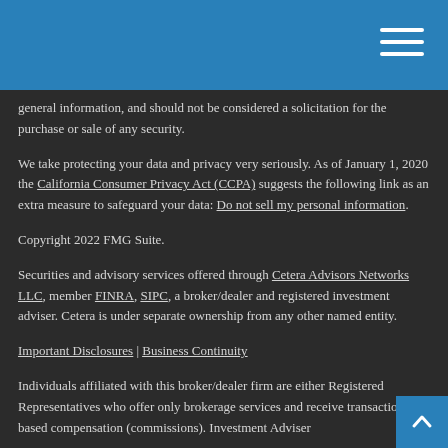general information, and should not be considered a solicitation for the purchase or sale of any security.
We take protecting your data and privacy very seriously. As of January 1, 2020 the California Consumer Privacy Act (CCPA) suggests the following link as an extra measure to safeguard your data: Do not sell my personal information.
Copyright 2022 FMG Suite.
Securities and advisory services offered through Cetera Advisors Networks LLC, member FINRA, SIPC, a broker/dealer and registered investment adviser. Cetera is under separate ownership from any other named entity.
Important Disclosures | Business Continuity
Individuals affiliated with this broker/dealer firm are either Registered Representatives who offer only brokerage services and receive transaction-based compensation (commissions). Investment Adviser